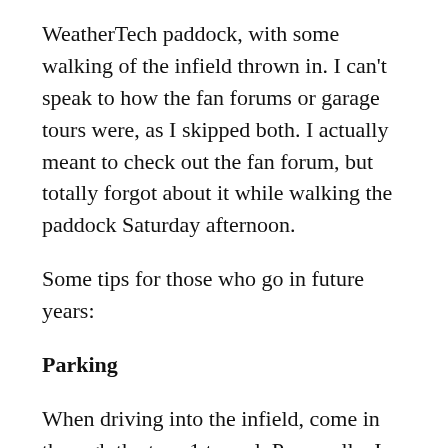WeatherTech paddock, with some walking of the infield thrown in. I can't speak to how the fan forums or garage tours were, as I skipped both. I actually meant to check out the fan forum, but totally forgot about it while walking the paddock Saturday afternoon.
Some tips for those who go in future years:
Parking
When driving into the infield, come in through the turn 1 tunnel. Personally, I like that tunnel better, and it puts you closer to better parking. I came in this way Sunday morning, and ended up with a front row parking spot not far